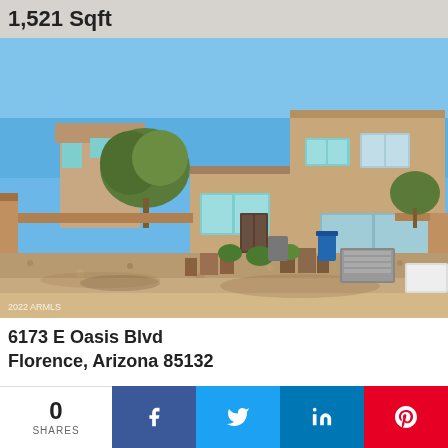1,521 Sqft
[Figure (photo): Rear exterior view of a two-story tan stucco home with xeriscape gravel backyard, block wall fencing, patio furniture, a/c unit, and blue sky. Trees visible in background. 2022 ARMLS watermark.]
6173 E Oasis Blvd
Florence, Arizona 85132
0 SHARES
f (Facebook share)
t (Twitter share)
in (LinkedIn share)
P (Pinterest share)